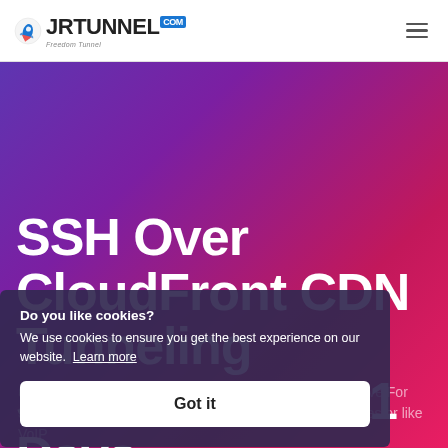JRTUNNEL.COM — Freedom Tunnel (logo + hamburger menu)
SSH Over CloudFront CDN Tunneling Service Active 1 Days
Secure SSH tunnel over CloudFront CDN using WebSocket protocol Active For 30 Days, Our server has support voice chat on online games or like VoIP
[Figure (screenshot): Cookie consent overlay with title 'Do you like cookies?', body text 'We use cookies to ensure you get the best experience on our website. Learn more', and a white 'Got it' button]
Do you like cookies?
We use cookies to ensure you get the best experience on our website. Learn more
Got it